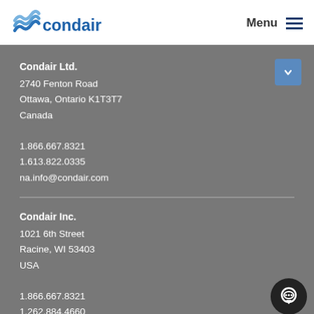[Figure (logo): Condair logo with wave symbol and blue text]
Menu
Condair Ltd.
2740 Fenton Road
Ottawa, Ontario K1T3T7
Canada

1.866.667.8321
1.613.822.0335
na.info@condair.com
Condair Inc.
1021 6th Street
Racine, WI 53403
USA

1.866.667.8321